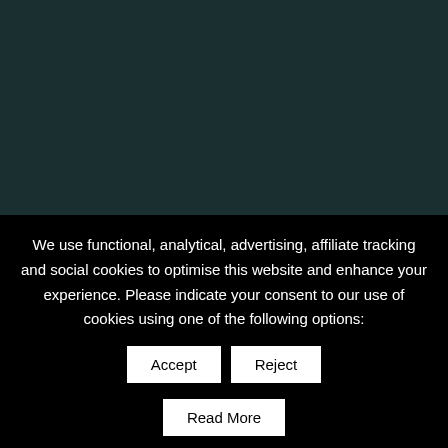[Figure (photo): Dark teal/green background image filling the upper portion of the page]
So, you've done a final wash and you're ready to get cracking with the next step. Co-washing time. But
We use functional, analytical, advertising, affiliate tracking and social cookies to optimise this website and enhance your experience. Please indicate your consent to our use of cookies using one of the following options: